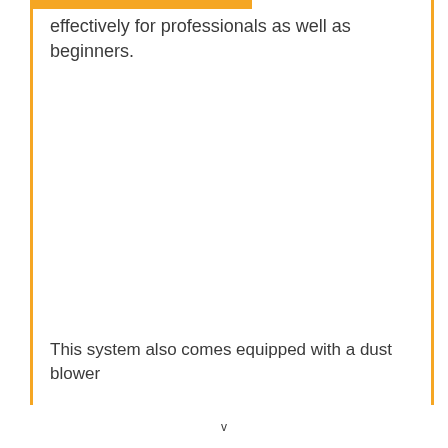effectively for professionals as well as beginners.
This system also comes equipped with a dust blower
v